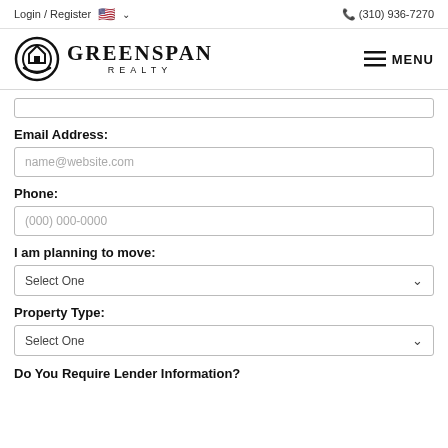Login / Register  🇺🇸 ∨  📞 (310) 936-7270
[Figure (logo): Greenspan Realty logo with circular icon and MENU navigation button]
Email Address:
name@website.com (placeholder)
Phone:
(000) 000-0000 (placeholder)
I am planning to move:
Select One
Property Type:
Select One
Do You Require Lender Information?